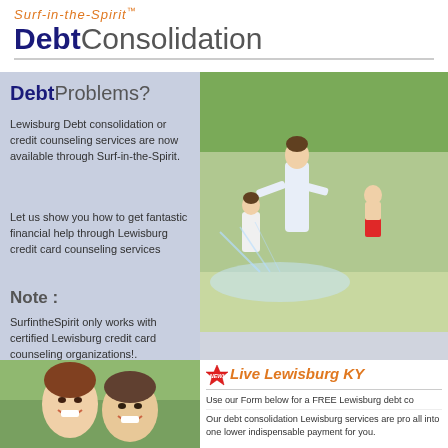Surf-in-the-Spirit™ Debt Consolidation
Debt Problems?
Lewisburg Debt consolidation or credit counseling services are now available through Surf-in-the-Spirit.
Let us show you how to get fantastic financial help through Lewisburg credit card counseling services
Note :
SurfintheSpirit only works with certified Lewisburg credit card counseling organizations!.
[Figure (photo): Family playing outdoors in garden with water sprinkler]
[Figure (photo): Smiling couple portrait outdoors]
Live Lewisburg KY
Use our Form below for a FREE Lewisburg debt co
Our debt consolidation Lewisburg services are pro all into one lower indispensable payment for you.